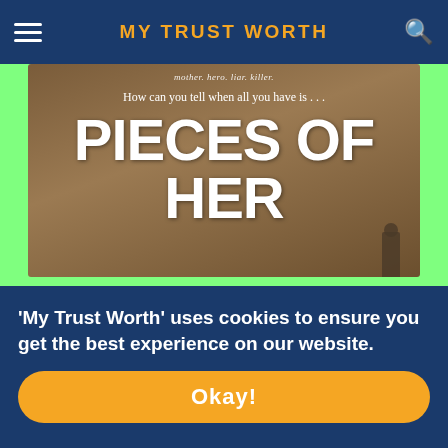MY TRUST WORTH
[Figure (photo): Book cover for 'Pieces of Her' showing white bold text on dark brownish background with subtitle 'How can you tell when all you have is...'. Below is an orange rounded button with text 'Pieces of Her - HINDI'. Below that is a bestseller card showing 'BESTSELLER' in large bold letters on grey background.]
Scroll: 43%
'My Trust Worth' uses cookies to ensure you get the best experience on our website.
Okay!